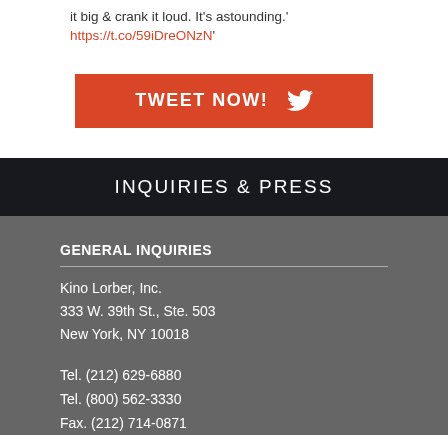it big & crank it loud. It's astounding.' https://t.co/59iDreONzN'
[Figure (other): Orange 'TWEET NOW!' button with Twitter bird icon]
INQUIRIES & PRESS
GENERAL INQUIRIES
Kino Lorber, Inc.
333 W. 39th St., Ste. 503
New York, NY 10018
Tel. (212) 629-6880
Tel. (800) 562-3330
Fax. (212) 714-0871